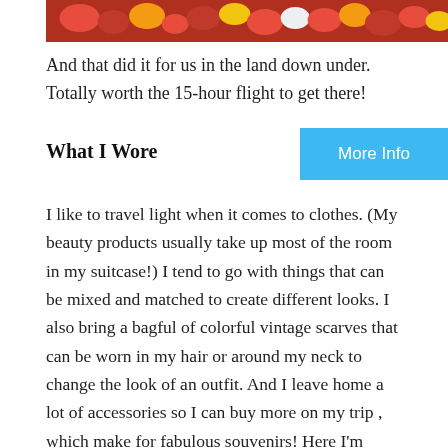[Figure (photo): Top strip of a floral arrangement photo showing red, yellow, and white flowers]
And that did it for us in the land down under. Totally worth the 15-hour flight to get there!
What I Wore
[Figure (other): Blue 'More Info' button]
I like to travel light when it comes to clothes. (My beauty products usually take up most of the room in my suitcase!) I tend to go with things that can be mixed and matched to create different looks. I also bring a bagful of colorful vintage scarves that can be worn in my hair or around my neck to change the look of an outfit. And I leave home a lot of accessories so I can buy more on my trip , which make for fabulous souvenirs! Here I'm wearing some skinny jeans with a cute print, a Ramones tee, a leopard print scarf I picked up at one of the markets and a